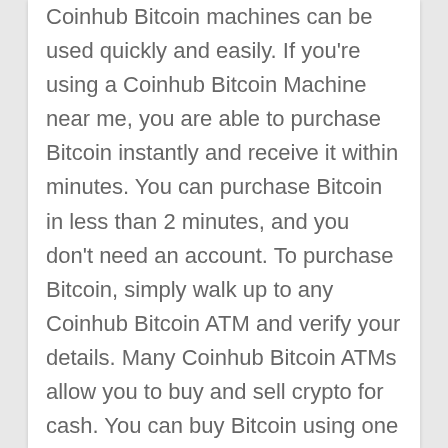Coinhub Bitcoin machines can be used quickly and easily. If you're using a Coinhub Bitcoin Machine near me, you are able to purchase Bitcoin instantly and receive it within minutes. You can purchase Bitcoin in less than 2 minutes, and you don't need an account. To purchase Bitcoin, simply walk up to any Coinhub Bitcoin ATM and verify your details. Many Coinhub Bitcoin ATMs allow you to buy and sell crypto for cash. You can buy Bitcoin using one our Bitcoin ATMs. First, locate the nearest Bitcoin ATM in your area by visiting our Coinhub Bitcoin ATM Locator. Enter your phone number and walk up to the machine. You will then verify your phone with a code and scan your bitcoin wallet. Enter each bill one at a time to determine the amount you wish to purchase. After that, confirm the purchase by entering the bitcoin atm. The bitcoin is instantly sent to your wallet. The daily buying limit is $25,000. There are Bitcoin Machines located in major